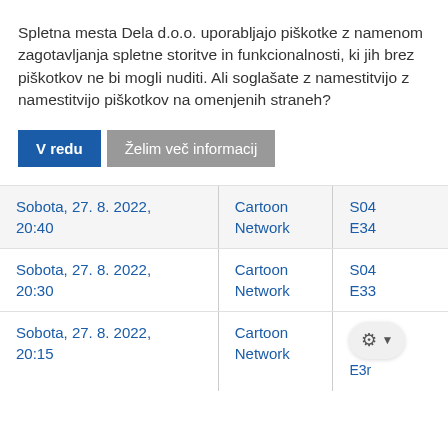Spletna mesta Dela d.o.o. uporabljajo piškotke z namenom zagotavljanja spletne storitve in funkcionalnosti, ki jih brez piškotkov ne bi mogli nuditi. Ali soglašate z namestitvijo z namestitvijo piškotkov na omenjenih straneh?
V redu | Želim več informacij
| Datum/čas | Kanal | Sezona/Epizoda |
| --- | --- | --- |
| Sobota, 27. 8. 2022, 20:40 | Cartoon Network | S04 E34 |
| Sobota, 27. 8. 2022, 20:30 | Cartoon Network | S04 E33 |
| Sobota, 27. 8. 2022, 20:15 | Cartoon Network | E3r |